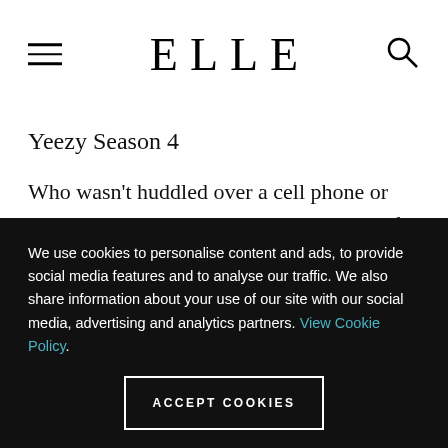ELLE
Yeezy Season 4
Who wasn't huddled over a cell phone or computer screen trying to get a glimpse of a Yeezy Season 4 live stream of the show in September? It was
We use cookies to personalise content and ads, to provide social media features and to analyse our traffic. We also share information about your use of our site with our social media, advertising and analytics partners. View Cookie Policy. ACCEPT COOKIES